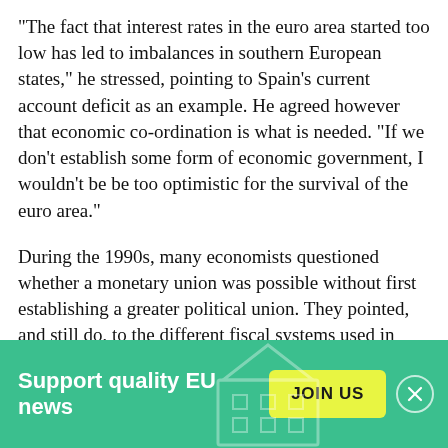"The fact that interest rates in the euro area started too low has led to imbalances in southern European states," he stressed, pointing to Spain's current account deficit as an example. He agreed however that economic co-ordination is what is needed. "If we don't establish some form of economic government, I wouldn't be be too optimistic for the survival of the euro area."
During the 1990s, many economists questioned whether a monetary union was possible without first establishing a greater political union. They pointed, and still do, to the different fiscal systems used in member states, and the imperfect movement of labour due to Europe's many languages.
[Figure (infographic): Green banner advertisement reading 'Support quality EU news' with a yellow 'JOIN US' button and a close (X) button. A faint building/institution icon appears in the background.]